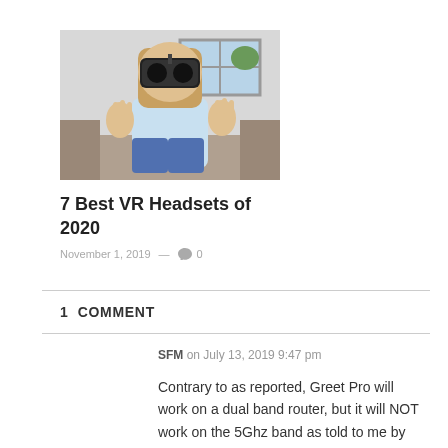[Figure (photo): A person wearing a VR headset sitting on a couch with hands raised, in a bright room]
7 Best VR Headsets of 2020
November 1, 2019 — 0
1  COMMENT
SFM on July 13, 2019 9:47 pm
Contrary to as reported, Greet Pro will work on a dual band router, but it will NOT work on the 5Ghz band as told to me by Zmodo after beating my head on the wall